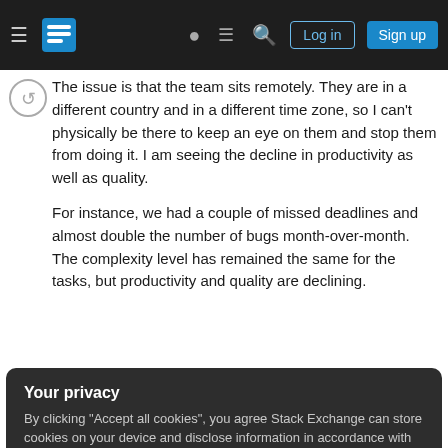Stack Exchange navigation bar with hamburger menu, logo, help, chat, search icons, Log in and Sign up buttons
The issue is that the team sits remotely. They are in a different country and in a different time zone, so I can't physically be there to keep an eye on them and stop them from doing it. I am seeing the decline in productivity as well as quality.
For instance, we had a couple of missed deadlines and almost double the number of bugs month-over-month. The complexity level has remained the same for the tasks, but productivity and quality are declining.
Your privacy
By clicking "Accept all cookies", you agree Stack Exchange can store cookies on your device and disclose information in accordance with our Cookie Policy.
Accept all cookies
Customize settings
Please don't take me wrong, I don't want them to